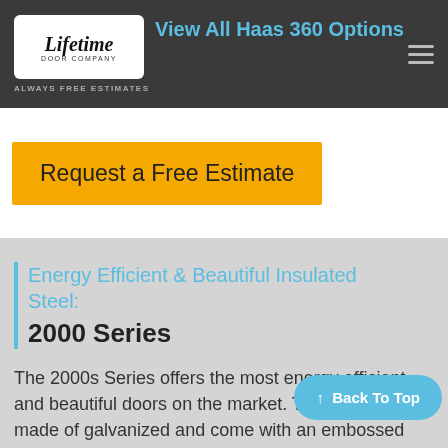View All Haas 360 Options
[Figure (logo): Lifetime Door Company logo with cursive text and 'ALWAYS FREE ESTIMATES' tagline]
Request a Free Estimate
Energy Efficient & Beautiful Insulated Steel: 2000 Series
The 2000s Series offers the most energy efficient and beautiful doors on the market. These doors are made of galvanized and come with an embossed wood grain
↑ Back To Top